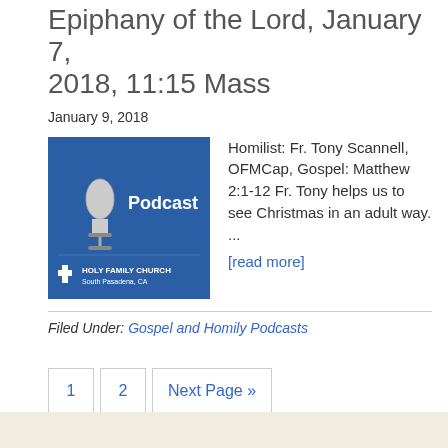Epiphany of the Lord, January 7, 2018, 11:15 Mass
January 9, 2018
[Figure (illustration): Blue square podcast cover image with microphone icon and text 'Podcast' and 'HOLY FAMILY CHURCH South Pasadena, CA']
Homilist: Fr. Tony Scannell, OFMCap, Gospel: Matthew 2:1-12 Fr. Tony helps us to see Christmas in an adult way. ...
[read more]
Filed Under: Gospel and Homily Podcasts
1  2  Next Page »